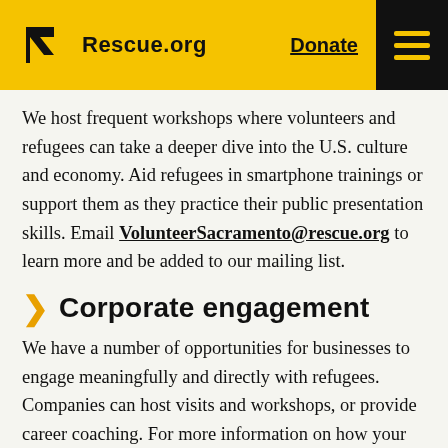Rescue.org  Donate
We host frequent workshops where volunteers and refugees can take a deeper dive into the U.S. culture and economy. Aid refugees in smartphone trainings or support them as they practice their public presentation skills. Email VolunteerSacramento@rescue.org to learn more and be added to our mailing list.
Corporate engagement
We have a number of opportunities for businesses to engage meaningfully and directly with refugees. Companies can host visits and workshops, or provide career coaching. For more information on how your company can get involved, check out the IRC in